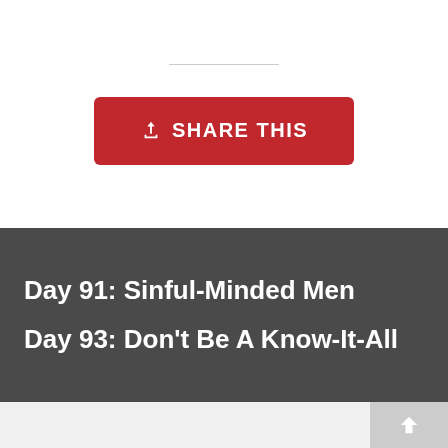[Figure (other): Red share button with upload icon and text 'SHARE THIS']
Day 91: Sinful-Minded Men
Day 93: Don't Be A Know-It-All